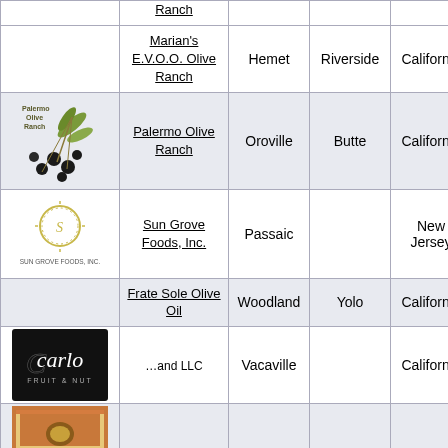| Logo | Name | City | County | State | Country |
| --- | --- | --- | --- | --- | --- |
| [logo] | Ranch |  |  |  |  |
| [logo] | Marian's E.V.O.O. Olive Ranch | Hemet | Riverside | California | United States |
| [Palermo logo] | Palermo Olive Ranch | Oroville | Butte | California | United States |
| [Sun Grove logo] | Sun Grove Foods, Inc. | Passaic |  | New Jersey | United States |
| [logo] | Frate Sole Olive Oil | Woodland | Yolo | California | United States |
| [Carlo logo] | [name] LLC | Vacaville |  | California | United States |
| [partial logo] |  |  |  |  |  |